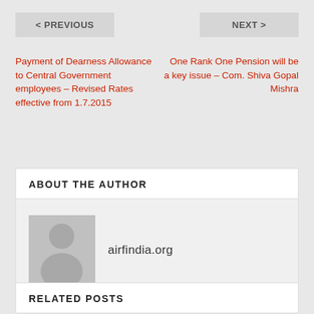< PREVIOUS
NEXT >
Payment of Dearness Allowance to Central Government employees – Revised Rates effective from 1.7.2015
One Rank One Pension will be a key issue – Com. Shiva Gopal Mishra
ABOUT THE AUTHOR
[Figure (illustration): Generic user avatar silhouette on grey background]
airfindia.org
RELATED POSTS